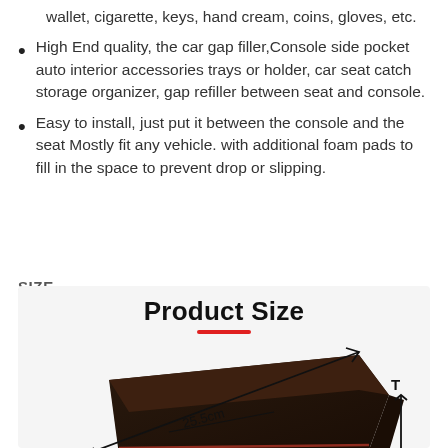wallet, cigarette, keys, hand cream, coins, gloves, etc.
High End quality, the car gap filler,Console side pocket auto interior accessories trays or holder, car seat catch storage organizer, gap refiller between seat and console.
Easy to install, just put it between the console and the seat Mostly fit any vehicle. with additional foam pads to fill in the space to prevent drop or slipping.
SIZE
[Figure (photo): Product size diagram showing a dark car seat gap filler organizer with measurement annotations: 25.5cm length and 6cm height indicated by arrows]